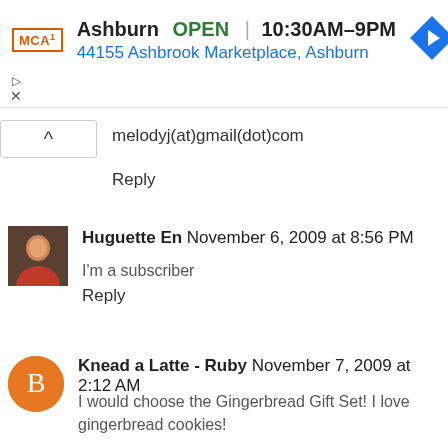[Figure (other): Advertisement banner for McDonald's Ashburn location showing logo, OPEN status, hours 10:30AM-9PM, address 44155 Ashbrook Marketplace Ashburn, and navigation arrow icon]
melodyj(at)gmail(dot)com
Reply
Huguette En November 6, 2009 at 8:56 PM
I'm a subscriber
Reply
Knead a Latte - Ruby November 7, 2009 at 2:12 AM
I would choose the Gingerbread Gift Set! I love gingerbread cookies!
Reply